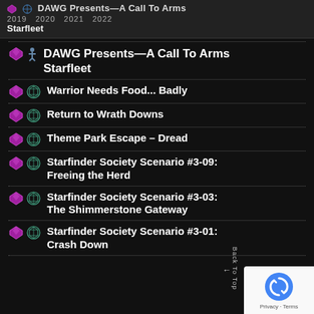DAWG Presents—A Call To Arms
2019  2020  2021  2022
Starfleet
DAWG Presents—A Call To Arms Starfleet
Warrior Needs Food... Badly
Return to Wrath Downs
Theme Park Escape – Dread
Starfinder Society Scenario #3-09: Freeing the Herd
Starfinder Society Scenario #3-03: The Shimmerstone Gateway
Starfinder Society Scenario #3-01: Crash Down